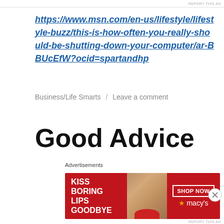REPORT THIS AD
https://www.msn.com/en-us/lifestyle/lifestyle-buzz/this-is-how-often-you-really-should-be-shutting-down-your-computer/ar-BBUcEfW?ocid=spartandhp
Business/Life Smarts / Leave a comment
Good Advice
[Figure (photo): Partial view of an advertisement image with gray gradient background]
Advertisements
[Figure (photo): Macy's advertisement banner: KISS BORING LIPS GOODBYE with SHOP NOW button and Macy's star logo, featuring a woman's face with red lipstick]